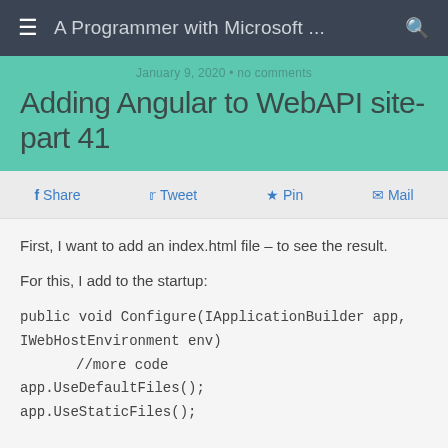A Programmer with Microsoft ...
January 9, 2020 • no comments
Adding Angular to WebAPI site-part 41
Share  Tweet  Pin  Mail
First, I want to add an index.html file – to see the result.
For this, I add to the startup:
public void Configure(IApplicationBuilder app,
IWebHostEnvironment env)
        //more code
app.UseDefaultFiles();
app.UseStaticFiles();